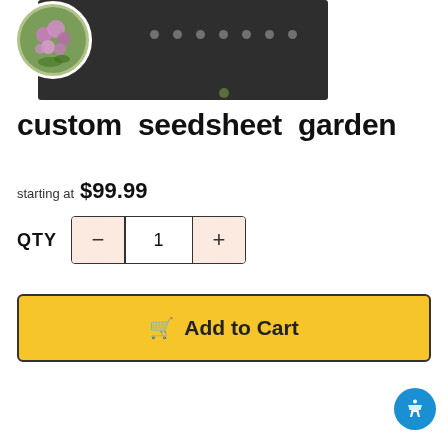[Figure (screenshot): Product image carousel showing a circular thumbnail of purple flowers on a dark banner background with small circular navigation dots]
custom seedsheet garden
starting at  $99.99
QTY  1
Add to Cart